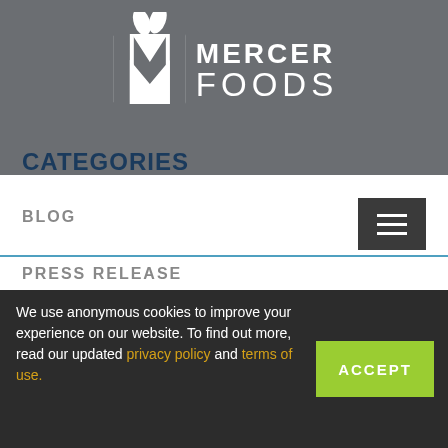[Figure (logo): Mercer Foods logo with stylized M and leaf, white text on grey background]
CATEGORIES
BLOG
PRESS RELEASE
RECIPE
TAGS
We use anonymous cookies to improve your experience on our website. To find out more, read our updated privacy policy and terms of use.